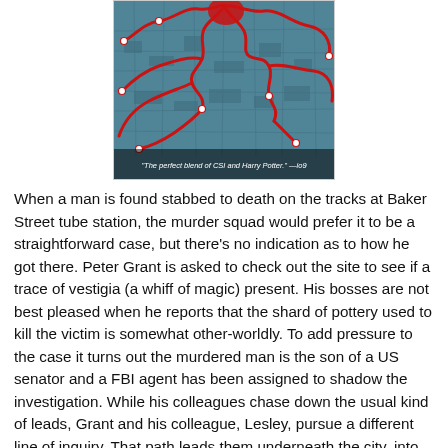[Figure (map): A stylized map with red route lines overlaid on a blue-toned city map background. A caption at the bottom reads: "The perfect blend of CSI and Harry Potter." —io9]
When a man is found stabbed to death on the tracks at Baker Street tube station, the murder squad would prefer it to be a straightforward case, but there's no indication as to how he got there. Peter Grant is asked to check out the site to see if a trace of vestigia (a whiff of magic) present. His bosses are not best pleased when he reports that the shard of pottery used to kill the victim is somewhat other-worldly. To add pressure to the case it turns out the murdered man is the son of a US senator and a FBI agent has been assigned to shadow the investigation. While his colleagues chase down the usual kind of leads, Grant and his colleague, Lesley, pursue a different line of inquiry. That path leads them underneath the city, into its conduits, sewers and chambers.